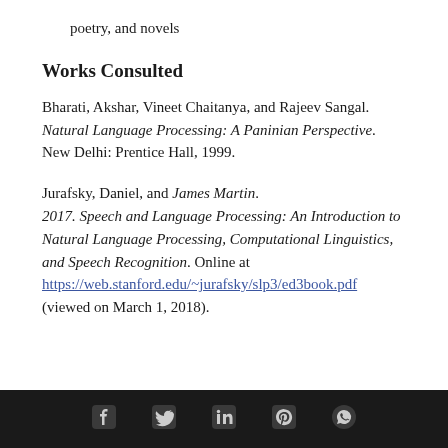poetry, and novels
Works Consulted
Bharati, Akshar, Vineet Chaitanya, and Rajeev Sangal. Natural Language Processing: A Paninian Perspective. New Delhi: Prentice Hall, 1999.
Jurafsky, Daniel, and James Martin. 2017. Speech and Language Processing: An Introduction to Natural Language Processing, Computational Linguistics, and Speech Recognition. Online at https://web.stanford.edu/~jurafsky/slp3/ed3book.pdf (viewed on March 1, 2018).
Social media icons: Facebook, Twitter, LinkedIn, Pinterest, WhatsApp